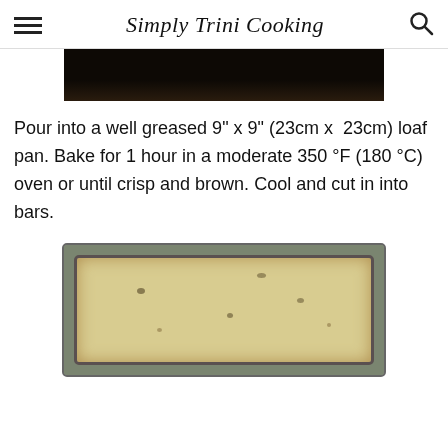Simply Trini Cooking
[Figure (photo): Top portion of a dark food photo, partially cropped at top]
Pour into a well greased 9" x 9" (23cm x  23cm) loaf pan. Bake for 1 hour in a moderate 350 °F (180 °C) oven or until crisp and brown. Cool and cut in into bars.
[Figure (photo): Photo of a baked loaf/bar in a rectangular metal baking pan, golden brown top, viewed from above]